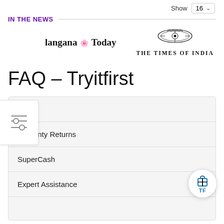Show 16
IN THE NEWS
[Figure (logo): Telangana Today newspaper logo]
[Figure (logo): The Times of India newspaper logo with emblem]
FAQ – Tryitfirst
Trial
Warranty Returns
SuperCash
Expert Assistance